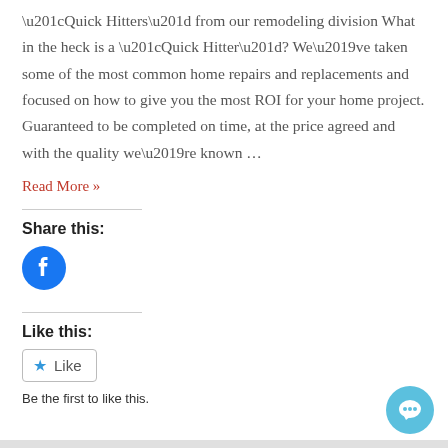“Quick Hitters” from our remodeling division What in the heck is a “Quick Hitter”? We’ve taken some of the most common home repairs and replacements and focused on how to give you the most ROI for your home project. Guaranteed to be completed on time, at the price agreed and with the quality we’re known …
Read More »
Share this:
[Figure (logo): Facebook share icon - blue circle with white Facebook 'f' logo]
Like this:
★ Like
Be the first to like this.
[Figure (illustration): Blue circular chat/comment bubble button in bottom-right corner]